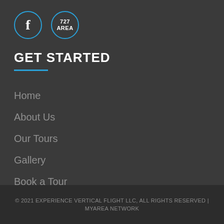[Figure (logo): Facebook icon circle with letter f in blue border circle, and 727 AREA text in blue border circle]
GET STARTED
Home
About Us
Our Tours
Gallery
Book a Tour
© 2021 EXPERIENCE VERTICAL FLIGHT LLC, ALL RIGHTS RESERVED | MYAREA NETWORK